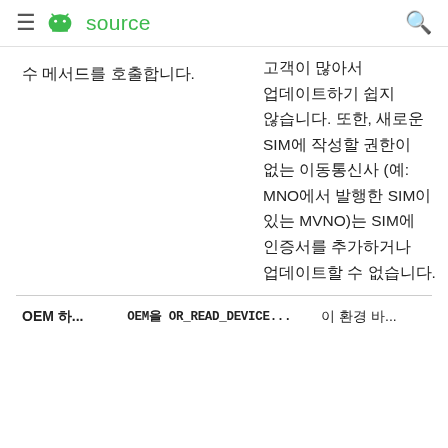≡ source 🔍
수 메서드를 호출합니다.
고객이 많아서 업데이트하기 쉽지 않습니다. 또한, 새로운 SIM에 작성할 권한이 없는 이동통신사 (예: MNO에서 발행한 SIM이 있는 MVNO)는 SIM에 인증서를 추가하거나 업데이트할 수 없습니다.
OEM 하... OEM을 OR_READ_DEVICE ... 이 환경 바...